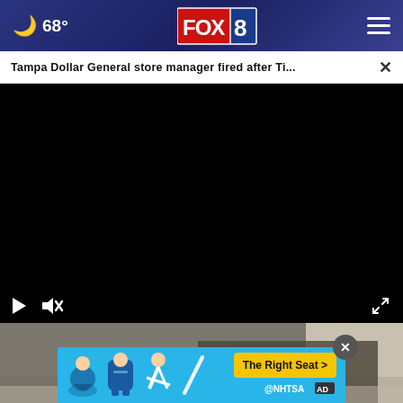68° FOX 8
Tampa Dollar General store manager fired after Ti... ×
[Figure (screenshot): Black video player area with play button, mute button, and fullscreen button controls at the bottom]
[Figure (photo): Photo showing a person in military/tactical gear with a German Shepherd dog on a brick/stone surface]
[Figure (infographic): NHTSA advertisement banner in light blue with car seat safety icons and 'The Right Seat >' call to action button in yellow]